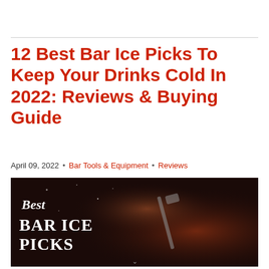12 Best Bar Ice Picks To Keep Your Drinks Cold In 2022: Reviews & Buying Guide
April 09, 2022  •  Bar Tools & Equipment  •  Reviews
[Figure (photo): Dark atmospheric photo of hands holding bar ice picks, overlaid with white serif text reading 'Best BAR ICE PICKS']